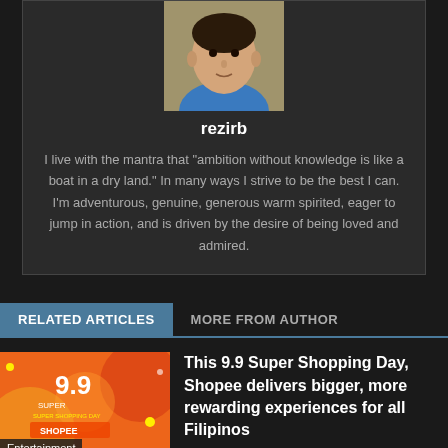[Figure (photo): Author profile photo of rezirb - young man in blue shirt]
rezirb
I live with the mantra that "ambition without knowledge is like a boat in a dry land." In many ways I strive to be the best I can. I'm adventurous, genuine, generous warm spirited, eager to jump in action, and is driven by the desire of being loved and admired.
RELATED ARTICLES	MORE FROM AUTHOR
[Figure (photo): Shopee 9.9 Super Shopping Day promotional banner with orange background]
Entertainment
This 9.9 Super Shopping Day, Shopee delivers bigger, more rewarding experiences for all Filipinos
[Figure (photo): Shopee Apprentice Program group photo]
Shopee Apprentice Program Upskills Young Emergent Leaders